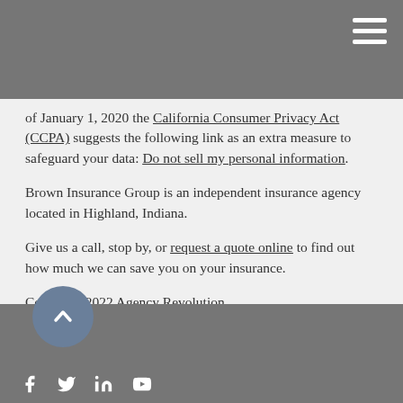of January 1, 2020 the California Consumer Privacy Act (CCPA) suggests the following link as an extra measure to safeguard your data: Do not sell my personal information.
Brown Insurance Group is an independent insurance agency located in Highland, Indiana.
Give us a call, stop by, or request a quote online to find out how much we can save you on your insurance.
Copyright 2022 Agency Revolution.
[Figure (other): Social media icons: Facebook, Twitter, LinkedIn, YouTube in white on grey footer bar]